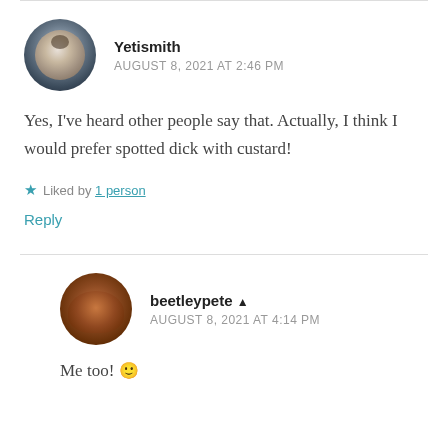Yetismith
AUGUST 8, 2021 AT 2:46 PM
Yes, I've heard other people say that. Actually, I think I would prefer spotted dick with custard!
★ Liked by 1 person
Reply
beetleypete
AUGUST 8, 2021 AT 4:14 PM
Me too! 🙂